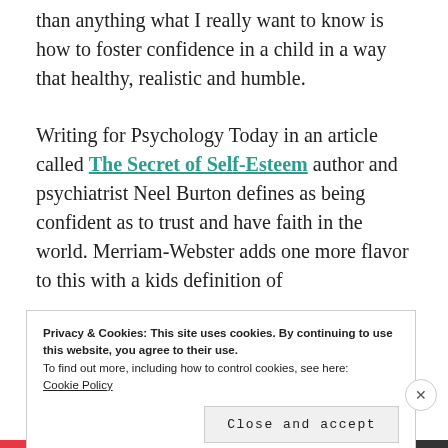than anything what I really want to know is how to foster confidence in a child in a way that healthy, realistic and humble.
Writing for Psychology Today in an article called The Secret of Self-Esteem author and psychiatrist Neel Burton defines as being confident as to trust and have faith in the world. Merriam-Webster adds one more flavor to this with a kids definition of
Privacy & Cookies: This site uses cookies. By continuing to use this website, you agree to their use.
To find out more, including how to control cookies, see here:
Cookie Policy